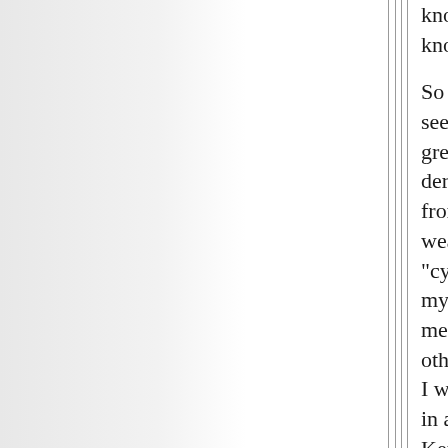know, how would we know?

So to me, Tainter seemed interesting, a great scholar, but derivitive, and suffering from all the same weaknesses of all thee "cyclical theorists (even my own social history mentor Toffler).  The other problem was that I was reading Kennedy in a similiar period.  Kennedy was